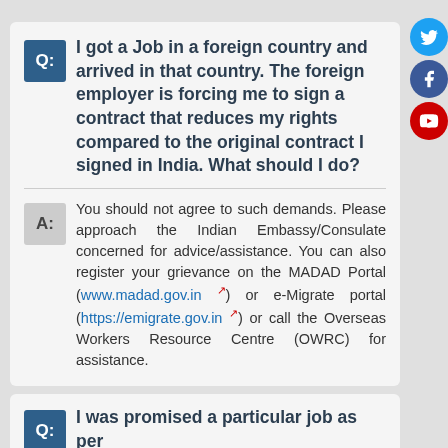[Figure (other): Social media icons: Twitter (blue circle), Facebook (dark blue circle), YouTube (red circle)]
Q: I got a Job in a foreign country and arrived in that country. The foreign employer is forcing me to sign a contract that reduces my rights compared to the original contract I signed in India. What should I do?
A: You should not agree to such demands. Please approach the Indian Embassy/Consulate concerned for advice/assistance. You can also register your grievance on the MADAD Portal (www.madad.gov.in) or e-Migrate portal (https://emigrate.gov.in) or call the Overseas Workers Resource Centre (OWRC) for assistance.
Q: I was promised a particular job as per